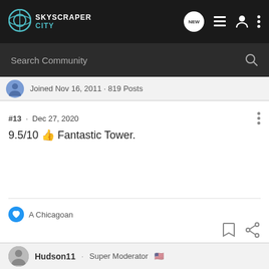SkyscraperCity
Search Community
Joined Nov 16, 2011 · 819 Posts
#13 · Dec 27, 2020
9.5/10 👍 Fantastic Tower.
A Chicagoan
Hudson11 · Super Moderator 🇺🇸